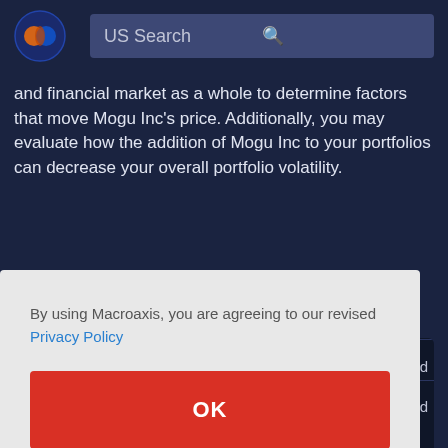US Search
and financial market as a whole to determine factors that move Mogu Inc's price. Additionally, you may evaluate how the addition of Mogu Inc to your portfolios can decrease your overall portfolio volatility.
By using Macroaxis, you are agreeing to our revised Privacy Policy
OK
Portfolio Rebalancing